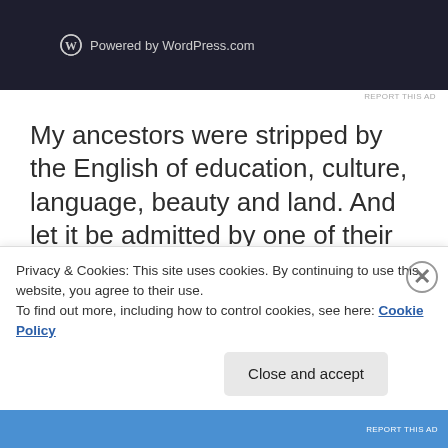[Figure (screenshot): WordPress.com dark banner with logo and 'Powered by WordPress.com' text]
REPORT THIS AD
My ancestors were stripped by the English of education, culture, language, beauty and land. And let it be admitted by one of their daughters five generations later,  that hurt people, hurt people. In our rage, desperation and ignorance we killed and took what
Privacy & Cookies: This site uses cookies. By continuing to use this website, you agree to their use.
To find out more, including how to control cookies, see here: Cookie Policy
Close and accept